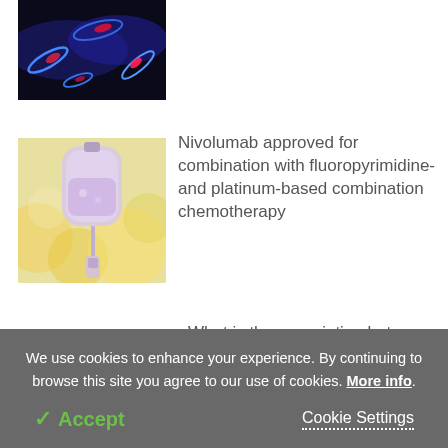[Figure (photo): Fluorescence microscopy image showing cells with blue and red/pink staining against a dark background]
[Figure (photo): IV drip bag with purple tinted liquid against a blurred yellow bokeh background]
Nivolumab approved for combination with fluoropyrimidine- and platinum-based combination chemotherapy
What is the association between polyfluoroalkyl substance exposure and risk of non-viral hepatocellular carcinoma?
We use cookies to enhance your experience. By continuing to browse this site you agree to our use of cookies. More info.
✓ Accept
Cookie Settings